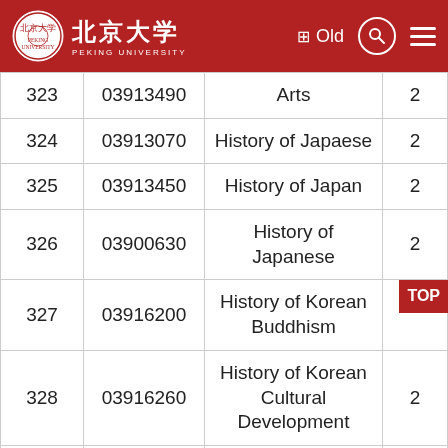Peking University - Old
| No. | Code | Course Name | Credits |
| --- | --- | --- | --- |
| 323 | 03913490 | ... Arts | 2 |
| 324 | 03913070 | History of Japaese | 2 |
| 325 | 03913450 | History of Japan | 2 |
| 326 | 03900630 | History of Japanese | 2 |
| 327 | 03916200 | History of Korean Buddhism |  |
| 328 | 03916260 | History of Korean Cultural Development | 2 |
| 329 | 03916310 | History of Korean Linguistics | 3 |
| 330 | 03916290 | History of Korean Literature | 2 |